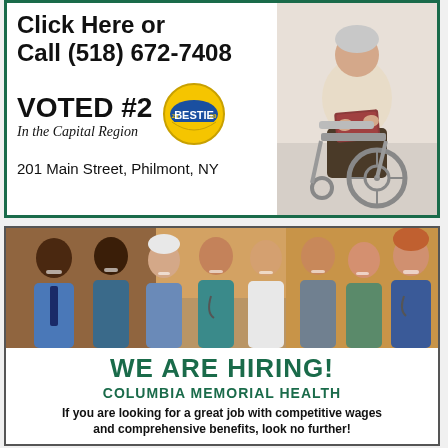Click Here or
Call (518) 672-7408
VOTED #2
In the Capital Region
[Figure (logo): BESTIE 2020 badge/seal in gold and blue circular design]
201 Main Street, Philmont, NY
[Figure (photo): Elderly person in wheelchair holding a book]
[Figure (photo): Group of smiling healthcare workers including doctors and nurses in scrubs and white coats]
WE ARE HIRING!
COLUMBIA MEMORIAL HEALTH
If you are looking for a great job with competitive wages and comprehensive benefits, look no further!